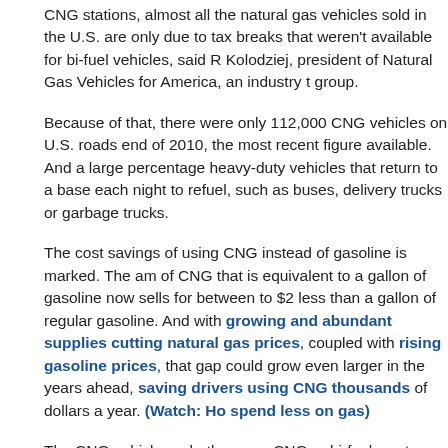CNG stations, almost all the natural gas vehicles sold in the U.S. are only due to tax breaks that weren't available for bi-fuel vehicles, said Kolodziej, president of Natural Gas Vehicles for America, an industry group.
Because of that, there were only 112,000 CNG vehicles on U.S. roads end of 2010, the most recent figure available. And a large percentage heavy-duty vehicles that return to a base each night to refuel, such as buses, delivery trucks or garbage trucks.
The cost savings of using CNG instead of gasoline is marked. The am of CNG that is equivalent to a gallon of gasoline now sells for between to $2 less than a gallon of regular gasoline. And with growing and abundant supplies cutting natural gas prices, coupled with rising gasoline prices, that gap could grow even larger in the years ahead, saving drivers using CNG thousands of dollars a year. (Watch: Ho spend less on gas)
The CNG vehicles, whether pure CNG or bi-fuel, cost more than their gasoline-only counterparts. Kolodziej's group is pushing for a new tax to help buyers of both kinds of CNG vehicles with the cost premium. B and Chrysler are planning to go ahead with their vehicles whether or m tax incentive passes, due to the growing demand from businesses loc save on operating costs. (Watch: Playing the gas price blame gam